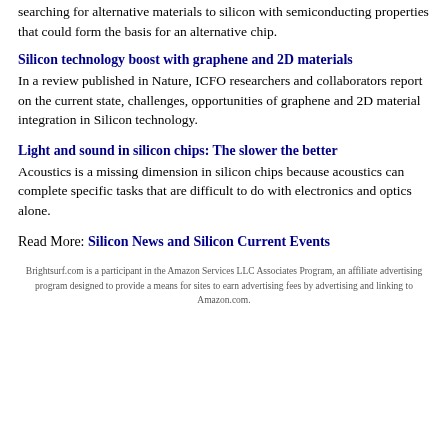searching for alternative materials to silicon with semiconducting properties that could form the basis for an alternative chip.
Silicon technology boost with graphene and 2D materials
In a review published in Nature, ICFO researchers and collaborators report on the current state, challenges, opportunities of graphene and 2D material integration in Silicon technology.
Light and sound in silicon chips: The slower the better
Acoustics is a missing dimension in silicon chips because acoustics can complete specific tasks that are difficult to do with electronics and optics alone.
Read More: Silicon News and Silicon Current Events
Brightsurf.com is a participant in the Amazon Services LLC Associates Program, an affiliate advertising program designed to provide a means for sites to earn advertising fees by advertising and linking to Amazon.com.